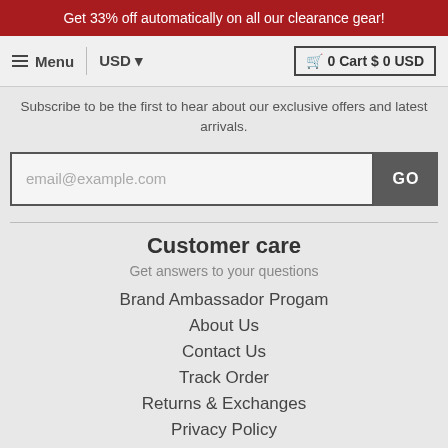Get 33% off automatically on all our clearance gear!
Menu | USD ▾ | 🛒 0 Cart $ 0 USD
Subscribe to be the first to hear about our exclusive offers and latest arrivals.
email@example.com [GO]
Customer care
Get answers to your questions
Brand Ambassador Progam
About Us
Contact Us
Track Order
Returns & Exchanges
Privacy Policy
Terms of Service